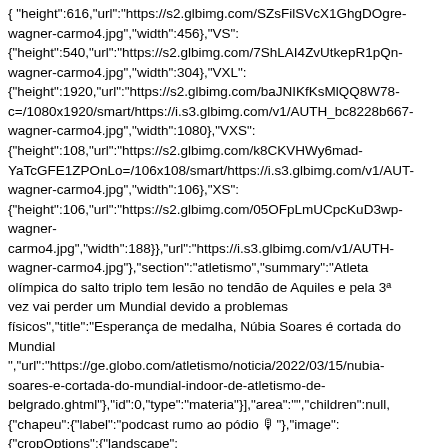{ "height":616,"url":"https://s2.glbimg.com/SZsFilSVcX1GhgDOgre- wagner-carmo4.jpg","width":456},{"VS": {"height":540,"url":"https://s2.glbimg.com/7ShLAI4ZvUtkepR1pQn- wagner-carmo4.jpg","width":304},{"VXL": {"height":1920,"url":"https://s2.glbimg.com/baJNIKfKsMlQQ8W78- c=/1080x1920/smart/https://i.s3.glbimg.com/v1/AUTH_bc8228b667- wagner-carmo4.jpg","width":1080},{"VXS": {"height":108,"url":"https://s2.glbimg.com/k8CKVHWy6mad- YaTcGFE1ZPOnLo=/106x108/smart/https://i.s3.glbimg.com/v1/AUT- wagner-carmo4.jpg","width":106},{"XS": {"height":106,"url":"https://s2.glbimg.com/05OFpLmUCpcKuD3wp- wagner- carmo4.jpg","width":188}},{"url":"https://i.s3.glbimg.com/v1/AUTH- wagner-carmo4.jpg"},{"section":"atletismo","summary":"Atleta olímpica do salto triplo tem lesão no tendão de Aquiles e pela 3ª vez vai perder um Mundial devido a problemas físicos","title":"Esperança de medalha, Núbia Soares é cortada do Mundial ","url":"https://ge.globo.com/atletismo/noticia/2022/03/15/nubia- soares-e-cortada-do-mundial-indoor-de-atletismo-de- belgrado.ghtml"},{"id":0,"type":"materia"}],"area":"","children":null, {"chapeu":{"label":"podcast rumo ao pódio 🎙"},"image": {"cropOptions":{"landscape": {"bottom":666,"left":0,"right":1150,"top":19},"type":"landscape and portrait"},"rightsHolder":"Wagner Carmo/CBAt","size": {"height":766,"width":1150},"sizes":{"L":